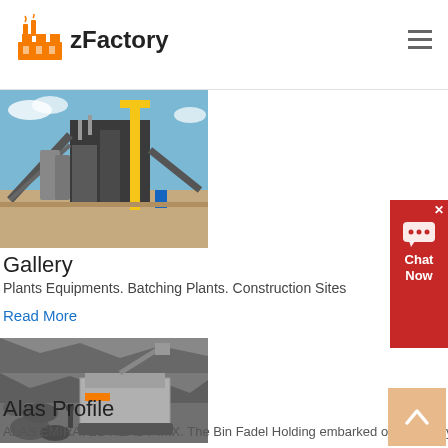zFactory
[Figure (photo): Industrial batching plant with conveyor belts and yellow crane structures against blue sky]
Gallery
Plants Equipments. Batching Plants. Construction Sites
Read More
[Figure (photo): Alas profile - rock crusher and heavy equipment at quarry/mining site]
Alas Profile
ALAS EMIRATES READY MIX. The Bin Fadel Holding embarked on a journey